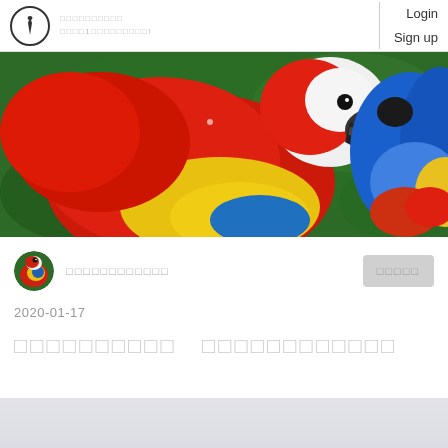Login  Sign up
[Figure (photo): Two macaw parrots close-up: a red, yellow and blue scarlet macaw on the left facing right, and a blue macaw partially visible on the right, against a green bokeh background.]
2020-01-17
□□□□□□□□□□　□□□□□□□□□□□□